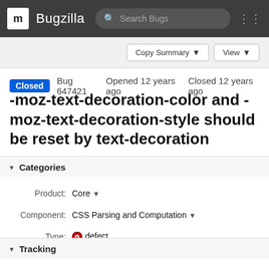m Bugzilla  Search Bugs
Copy Summary  View
Closed  Bug 647421  Opened 12 years ago  Closed 12 years ago
-moz-text-decoration-color and -moz-text-decoration-style should be reset by text-decoration
Categories
| Field | Value |
| --- | --- |
| Product: | Core |
| Component: | CSS Parsing and Computation |
| Type: | defect |
| Priority: | Not set |
| Severity: | normal |
Tracking
| Field | Value |
| --- | --- |
| Status: | RESOLVED FIXED |
| Milestone: | mozilla6 |